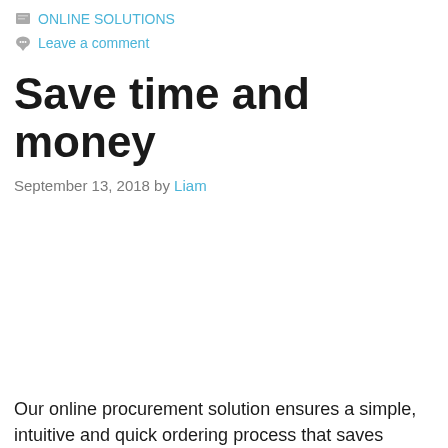ONLINE SOLUTIONS
Leave a comment
Save time and money
September 13, 2018 by Liam
Our online procurement solution ensures a simple, intuitive and quick ordering process that saves